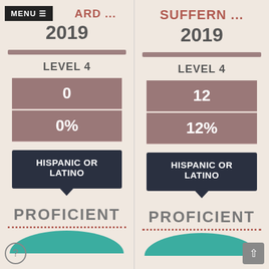MENU ≡ ARD ... 2019
SUFFERN ... 2019
LEVEL 4
0
0%
LEVEL 4
12
12%
HISPANIC OR LATINO
HISPANIC OR LATINO
PROFICIENT
PROFICIENT